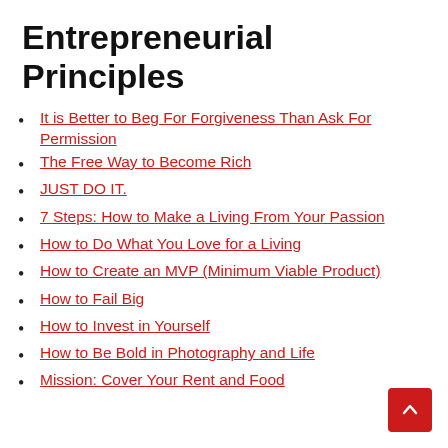Entrepreneurial Principles
It is Better to Beg For Forgiveness Than Ask For Permission
The Free Way to Become Rich
JUST DO IT.
7 Steps: How to Make a Living From Your Passion
How to Do What You Love for a Living
How to Create an MVP (Minimum Viable Product)
How to Fail Big
How to Invest in Yourself
How to Be Bold in Photography and Life
Mission: Cover Your Rent and Food